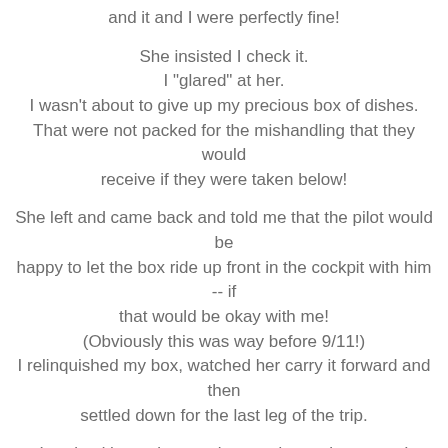and it and I were perfectly fine!
She insisted I check it.
I "glared" at her.
I wasn't about to give up my precious box of dishes.
That were not packed for the mishandling that they would receive if they were taken below!
She left and came back and told me that the pilot would be happy to let the box ride up front in the cockpit with him -- if that would be okay with me!
(Obviously this was way before 9/11!)
I relinquished my box, watched her carry it forward and then settled down for the last leg of the trip.
It arrived home in one piece and over the years, I added place settings until I had 8.
It was expensive in the mid 80s to mid 90s
$200 per place setting
Then I got my grandmother's Noritake
And I had two sets of china.